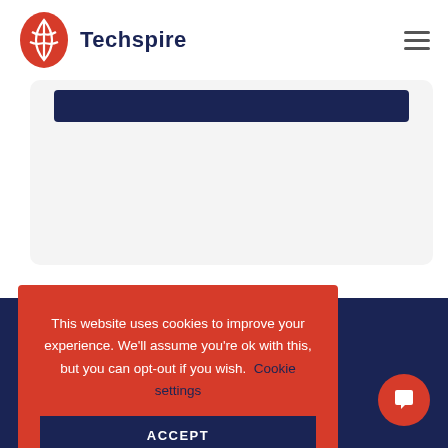Techspire
[Figure (screenshot): Techspire logo: red shield/leaf icon with white lines, next to bold navy text 'Techspire']
[Figure (other): Dark navy blue rectangular button bar inside a light grey card area]
This website uses cookies to improve your experience. We'll assume you're ok with this, but you can opt-out if you wish. Cookie settings
[Figure (other): ACCEPT button in dark navy blue, white uppercase text, inside red cookie consent banner]
[Figure (other): Red circular chat/message button in bottom right corner with white speech bubble icon]